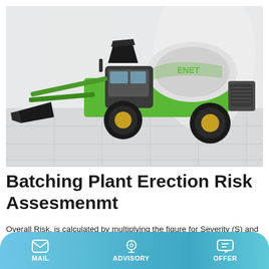[Figure (photo): A green and black self-loading concrete mixer truck (ENET brand) positioned on a light grey tiled floor with a bright white interior background. The truck has a large rotating drum, front-loading bucket, and prominent black tires with gold/yellow rims.]
Batching Plant Erection Risk Assesmenmt
Overall Risk. is calculated by multiplying the figure for Severity (S) and Likelihood (L). The overall risk figure calculated is
MAIL  ADVISORY  OFFER